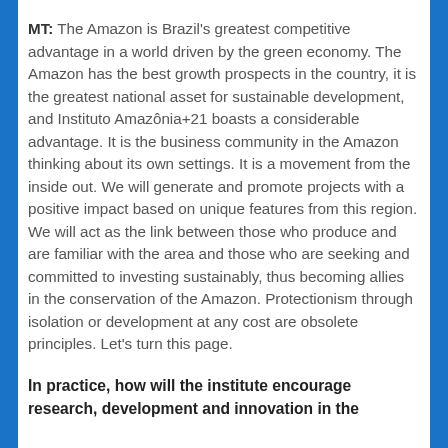MT: The Amazon is Brazil's greatest competitive advantage in a world driven by the green economy. The Amazon has the best growth prospects in the country, it is the greatest national asset for sustainable development, and Instituto Amazônia+21 boasts a considerable advantage. It is the business community in the Amazon thinking about its own settings. It is a movement from the inside out. We will generate and promote projects with a positive impact based on unique features from this region. We will act as the link between those who produce and are familiar with the area and those who are seeking and committed to investing sustainably, thus becoming allies in the conservation of the Amazon. Protectionism through isolation or development at any cost are obsolete principles. Let's turn this page.
In practice, how will the institute encourage research, development and innovation in the